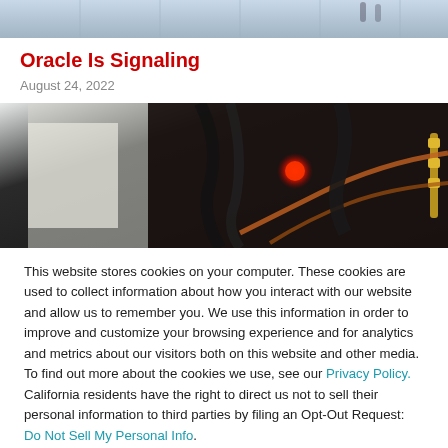[Figure (photo): Top banner: blurred image of people walking in a building with glass partitions]
Oracle Is Signaling
August 24, 2022
[Figure (photo): Close-up photo of electronic components or networking cables on a dark background with a red LED light and gold/copper connectors]
This website stores cookies on your computer. These cookies are used to collect information about how you interact with our website and allow us to remember you. We use this information in order to improve and customize your browsing experience and for analytics and metrics about our visitors both on this website and other media. To find out more about the cookies we use, see our Privacy Policy. California residents have the right to direct us not to sell their personal information to third parties by filing an Opt-Out Request: Do Not Sell My Personal Info.